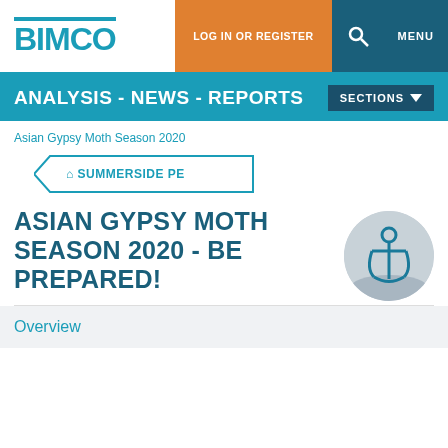BIMCO | LOG IN OR REGISTER | MENU
ANALYSIS - NEWS - REPORTS
Asian Gypsy Moth Season 2020
SUMMERSIDE PE
ASIAN GYPSY MOTH SEASON 2020 - BE PREPARED!
[Figure (illustration): Circular anchor logo illustration with an anchor icon on grey/ocean background]
Overview